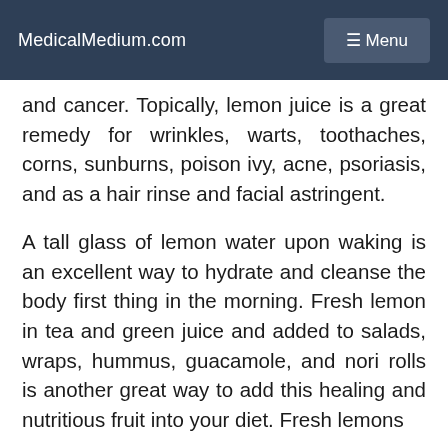MedicalMedium.com  ☰ Menu
and cancer. Topically, lemon juice is a great remedy for wrinkles, warts, toothaches, corns, sunburns, poison ivy, acne, psoriasis, and as a hair rinse and facial astringent.
A tall glass of lemon water upon waking is an excellent way to hydrate and cleanse the body first thing in the morning. Fresh lemon in tea and green juice and added to salads, wraps, hummus, guacamole, and nori rolls is another great way to add this healing and nutritious fruit into your diet. Fresh lemons